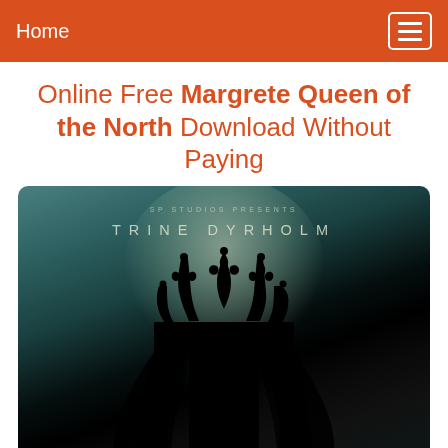Home
Online Free Margrete Queen of the North Download Without Paying
[Figure (photo): Movie poster for Margrete Queen of the North featuring a dark silhouette wearing a crown with veil against a teal misty background. Text reads 'SP STUDIOS PRESENTS' and 'TRINE DYRHOLM' at the top.]